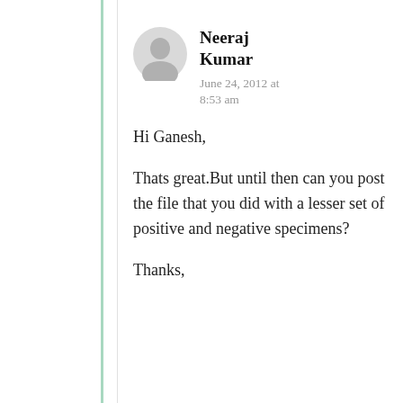Neeraj Kumar
June 24, 2012 at 8:53 am
Hi Ganesh,
Thats great.But until then can you post the file that you did with a lesser set of positive and negative specimens?
Thanks,